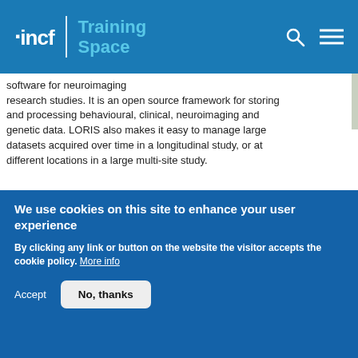INCF Training Space
software for neuroimaging research studies. It is an open source framework for storing and processing behavioural, clinical, neuroimaging and genetic data. LORIS also makes it easy to manage large datasets acquired over time in a longitudinal study, or at different locations in a large multi-site study.
Difficulty level:   Beginner
Duration: 0:35
Speaker: : Samir Das
We use cookies on this site to enhance your user experience
By clicking any link or button on the website the visitor accepts the cookie policy. More info
Accept   No, thanks